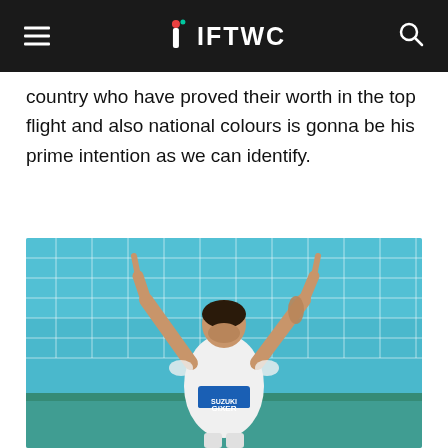IFTWC
country who have proved their worth in the top flight and also national colours is gonna be his prime intention as we can identify.
[Figure (photo): Football player in white jersey with Suzuki Gixxer sponsor, arms raised pointing skyward in celebration, standing in front of a goal net with cyan/teal colored background]